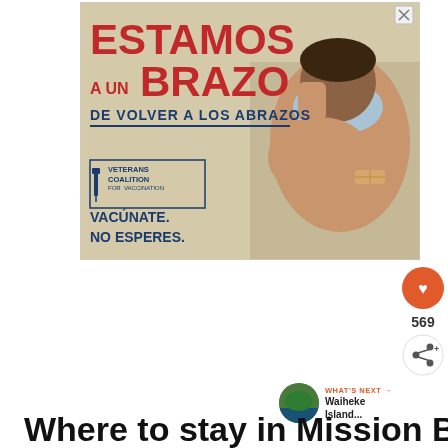[Figure (illustration): Advertisement from Veterans Coalition for Vaccination in Spanish. Large red text 'ESTAMOS A UN BRAZO' with blue text 'DE VOLVER A LOS ABRAZOS'. Shows a person wearing a mask flexing their arm with a bandage, indicating vaccination. Logo box with syringe icon. Text reads 'VACÚNATE. NO ESPERES.']
569
WHAT'S NEXT → Waiheke Island...
Where to stay in Mission Bay...